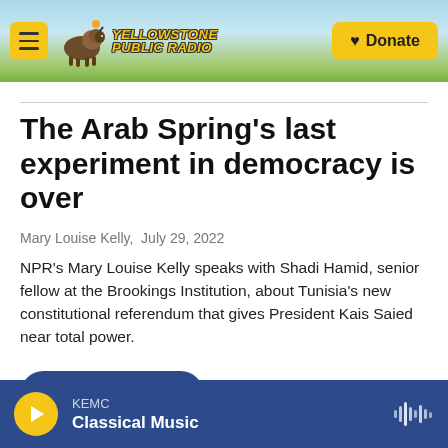[Figure (screenshot): Yellowstone Public Radio website header with logo, hamburger menu, cloud/landscape background, and yellow Donate button]
The Arab Spring's last experiment in democracy is over
Mary Louise Kelly,  July 29, 2022
NPR's Mary Louise Kelly speaks with Shadi Hamid, senior fellow at the Brookings Institution, about Tunisia's new constitutional referendum that gives President Kais Saied near total power.
LISTEN • 4:18
KEMC Classical Music